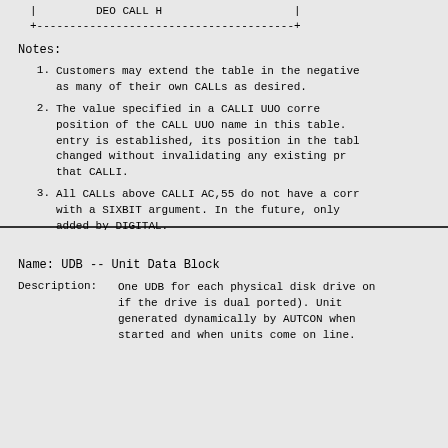| DEO CALL H |
+---------------------------------------+
Notes:
1. Customers may extend the table in the negative as many of their own CALLs as desired.
2. The value specified in a CALLI UUO corresponds to the position of the CALL UUO name in this table. Once an entry is established, its position in the table cannot be changed without invalidating any existing programs that use that CALLI.
3. All CALLs above CALLI AC,55 do not have a corresponding name with a SIXBIT argument. In the future, only CALLs will be added by DIGITAL.
Name:  UDB -- Unit Data Block
Description:   One UDB for each physical disk drive on the system (two if the drive is dual ported). Unit data blocks are generated dynamically by AUTCON when S.INIT is started and when units come on line.